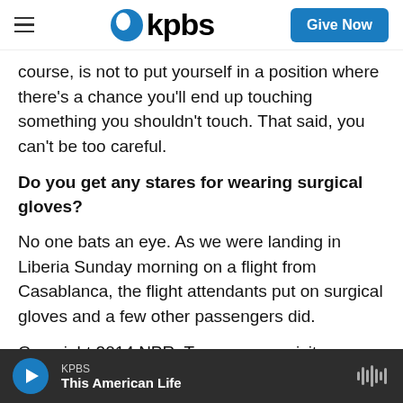KPBS | Give Now
course, is not to put yourself in a position where there's a chance you'll end up touching something you shouldn't touch. That said, you can't be too careful.
Do you get any stares for wearing surgical gloves?
No one bats an eye. As we were landing in Liberia Sunday morning on a flight from Casablanca, the flight attendants put on surgical gloves and a few other passengers did.
Copyright 2014 NPR. To see more, visit
KPBS | This American Life